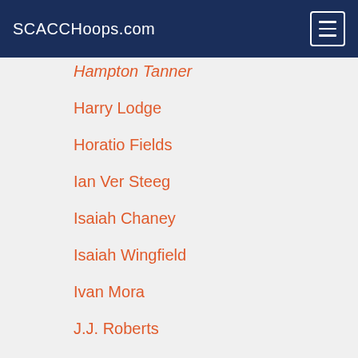SCACCHoops.com
Hampton Tanner
Harry Lodge
Horatio Fields
Ian Ver Steeg
Isaiah Chaney
Isaiah Wingfield
Ivan Mora
J.J. Roberts
Jack Porter
Jackson Hensley
Jacob Zuhr
Jacobi Gilbert